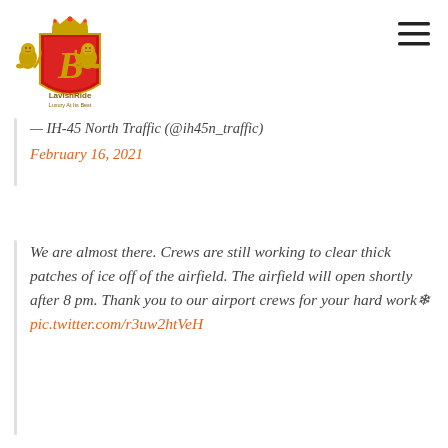[Figure (logo): LavishRide company logo — red heraldic shield with golden letter B, two golden lions rampant on either side, golden crown on top, text 'LavishRide' and 'Luxury At Its Best' below]
— IH-45 North Traffic (@ih45n_traffic)
February 16, 2021
We are almost there. Crews are still working to clear thick patches of ice off of the airfield. The airfield will open shortly after 8 pm. Thank you to our airport crews for your hard work❄️ pic.twitter.com/r3uw2htVeH